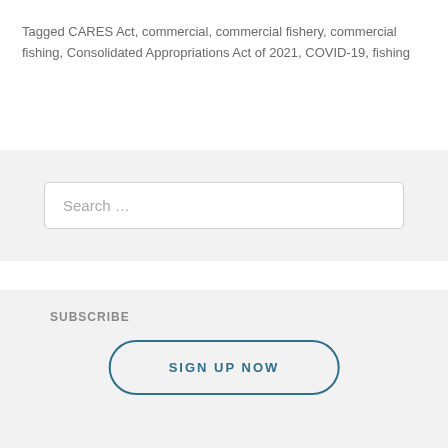Tagged CARES Act, commercial, commercial fishery, commercial fishing, Consolidated Appropriations Act of 2021, COVID-19, fishing
Search …
SUBSCRIBE
SIGN UP NOW